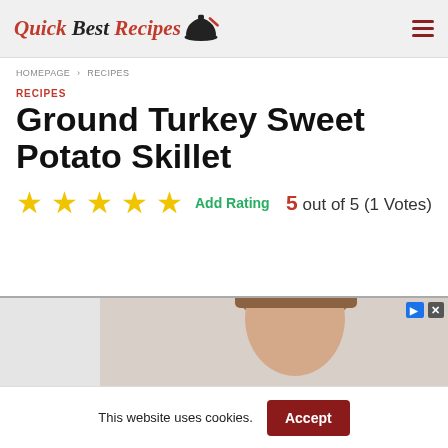Quick Best Recipes
HOMEPAGE › RECIPES
RECIPES
Ground Turkey Sweet Potato Skillet
5 out of 5 (1 Votes) ★★★★★ Add Rating
[Figure (photo): Advertisement banner with a person's face partially visible]
This website uses cookies. Accept